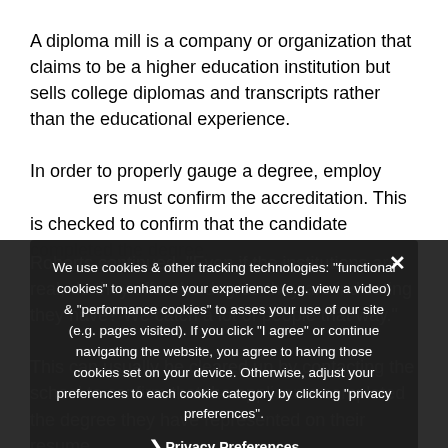A diploma mill is a company or organization that claims to be a higher education institution but sells college diplomas and transcripts rather than the educational experience.
In order to properly gauge a degree, employers must confirm accreditation. This is checked to confirm that the candidate completed the degree...
Roberts continued, "Even if the institutions are real, do they offer the degree they are indicating they have? We catch a lot of people that way."
This can usually be cleared up by contacting the school to confirm that the applicant completed the degree they have represented on their resume.
We use cookies & other tracking technologies: "functional cookies" to enhance your experience (e.g. view a video) & "performance cookies" to asses your use of our site (e.g. pages visited). If you click "I agree" or continue navigating the website, you agree to having those cookies set on your device. Otherwise, adjust your preferences to each cookie category by clicking "privacy preferences".
Privacy Preferences
I Agree